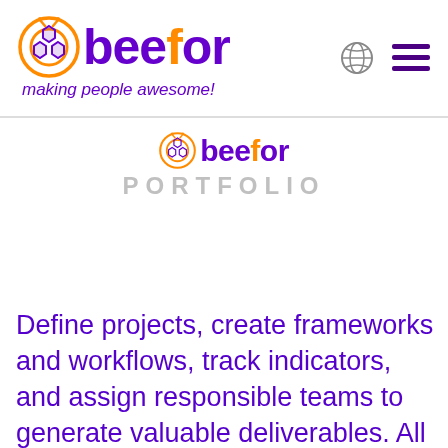[Figure (logo): Beefor logo with bee icon and text 'beefor' in purple/orange, tagline 'making people awesome!' in purple italic, plus globe and hamburger menu icons on the right]
[Figure (logo): Centered beefor logo with bee icon and text 'beefor' in purple/orange, below it 'PORTFOLIO' in large grey spaced letters]
Define projects, create frameworks and workflows, track indicators, and assign responsible teams to generate valuable deliverables. All integrated and in real time. With beefor you can